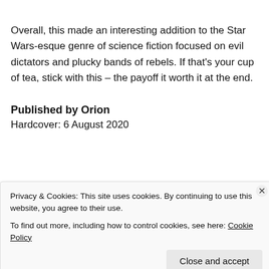Overall, this made an interesting addition to the Star Wars-esque genre of science fiction focused on evil dictators and plucky bands of rebels. If that's your cup of tea, stick with this – the payoff it worth it at the end.
Published by Orion
Hardcover: 6 August 2020
Privacy & Cookies: This site uses cookies. By continuing to use this website, you agree to their use.
To find out more, including how to control cookies, see here: Cookie Policy